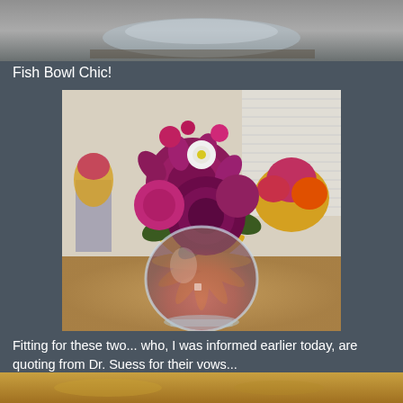[Figure (photo): Top portion of a photo showing a glass object on a wooden table surface, partially cropped]
Fish Bowl Chic!
[Figure (photo): Floral arrangement in a round glass fish bowl vase containing sunflowers and deep purple/magenta dahlias with white accent flowers, placed on a wooden table with more floral arrangements visible in the background]
Fitting for these two... who, I was informed earlier today, are quoting from Dr. Suess for their vows...
[Figure (photo): Bottom strip of another photo, partially visible, showing a warm golden/yellow toned scene]